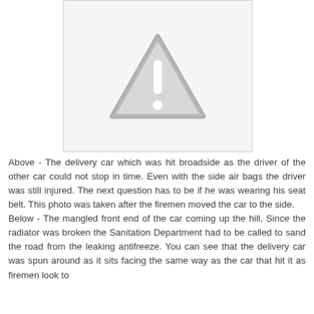[Figure (photo): Placeholder image with a grey warning triangle (exclamation mark) icon on a white background with grey border, representing a car accident photo.]
Above - The delivery car which was hit broadside as the driver of the other car could not stop in time. Even with the side air bags the driver was still injured. The next question has to be if he was wearing his seat belt. This photo was taken after the firemen moved the car to the side.
Below - The mangled front end of the car coming up the hill, Since the radiator was broken the Sanitation Department had to be called to sand the road from the leaking antifreeze. You can see that the delivery car was spun around as it sits facing the same way as the car that hit it as firemen look to